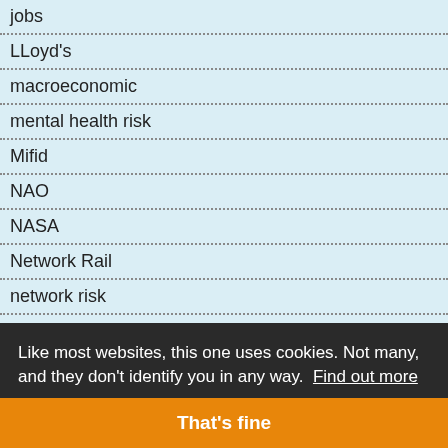jobs
LLoyd's
macroeconomic
mental health risk
Mifid
NAO
NASA
Network Rail
network risk
Oil
Like most websites, this one uses cookies. Not many, and they don't identify you in any way.  Find out more
That's fine
productivity